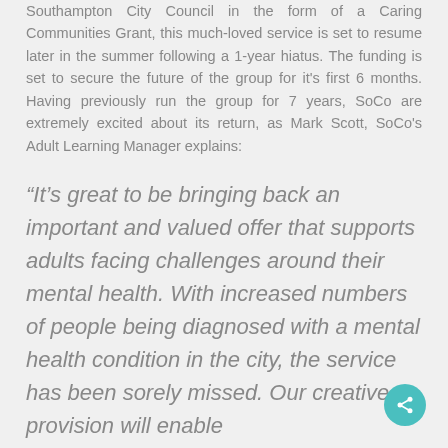Southampton City Council in the form of a Caring Communities Grant, this much-loved service is set to resume later in the summer following a 1-year hiatus. The funding is set to secure the future of the group for it's first 6 months. Having previously run the group for 7 years, SoCo are extremely excited about its return, as Mark Scott, SoCo's Adult Learning Manager explains:
“It’s great to be bringing back an important and valued offer that supports adults facing challenges around their mental health. With increased numbers of people being diagnosed with a mental health condition in the city, the service has been sorely missed. Our creative provision will enable